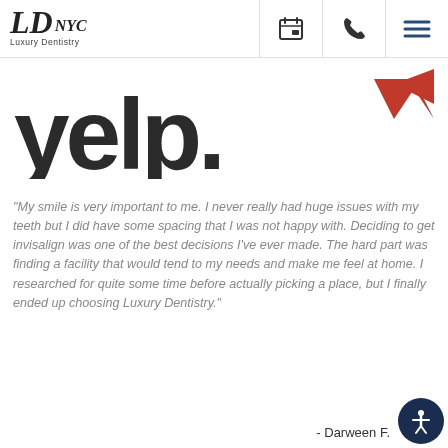LD NYC Luxury Dentistry — navigation header with calendar, phone, and menu icons
[Figure (logo): Yelp logo — dark stylized 'yelp.' text with red burst shapes on the right]
"My smile is very important to me. I never really had huge issues with my teeth but I did have some spacing that I was not happy with. Deciding to get invisalign was one of the best decisions I've ever made. The hard part was finding a facility that would tend to my needs and make me feel at home. I researched for quite some time before actually picking a place, but I finally ended up choosing Luxury Dentistry."
- Darween F.